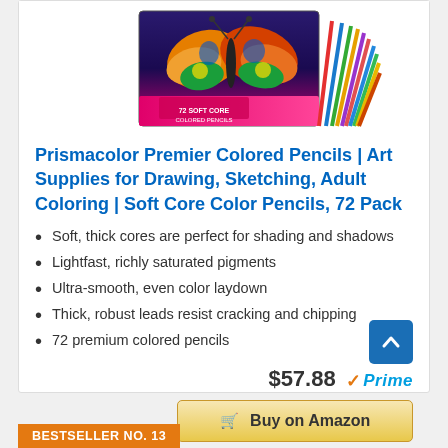[Figure (photo): Prismacolor Premier 72 Soft Core Colored Pencils tin box with butterfly artwork on cover, pencils fanned out to the right]
Prismacolor Premier Colored Pencils | Art Supplies for Drawing, Sketching, Adult Coloring | Soft Core Color Pencils, 72 Pack
Soft, thick cores are perfect for shading and shadows
Lightfast, richly saturated pigments
Ultra-smooth, even color laydown
Thick, robust leads resist cracking and chipping
72 premium colored pencils
$57.88 ✓Prime
Buy on Amazon
BESTSELLER NO. 13